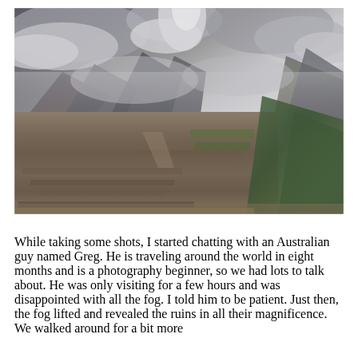[Figure (photo): Aerial view of Machu Picchu ancient Inca ruins with terraced stone structures in the foreground and dramatic cloudy misty mountains in the background, HDR-style photograph]
While taking some shots, I started chatting with an Australian guy named Greg. He is traveling around the world in eight months and is a photography beginner, so we had lots to talk about. He was only visiting for a few hours and was disappointed with all the fog. I told him to be patient. Just then, the fog lifted and revealed the ruins in all their magnificence. We walked around for a bit more